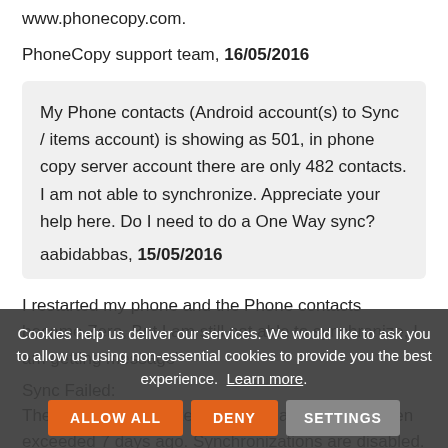www.phonecopy.com.
PhoneCopy support team, 16/05/2016
My Phone contacts (Android account(s) to Sync / items account) is showing as 501, in phone copy server account there are only 482 contacts. I am not able to synchronize. Appreciate your help here. Do I need to do a One Way sync?

aabidabbas, 15/05/2016
I restarted my phone and the Phone contacts became Zero, But I am still not able to synchronize, I am getting message"
Sync Failed:
The number of data items for free account has been exceeded 7 days ago. Synchronizations are disabled. Please reduce number of items on website."
The count ... and ... is not able to synchronize. Appreciate your help to enable my
Cookies help us deliver our services. We would like to ask you to allow us using non-essential cookies to provide you the best experience. Learn more.